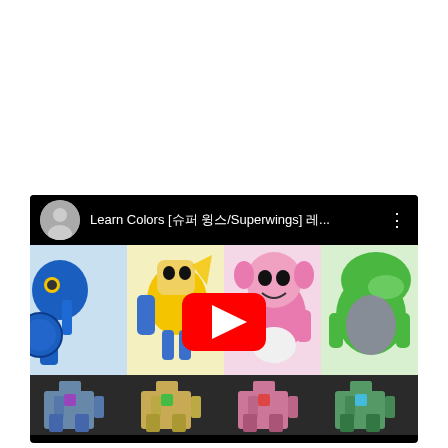[Figure (screenshot): YouTube video thumbnail showing Super Wings / 슈퍼윙스 characters as toys. Title bar reads 'Learn Colors [슈퍼 윙스/Superwings] 레...'. The thumbnail shows four colored robot/airplane toy characters (blue, yellow, pink, green) in their transformed robot forms at the top, a red YouTube play button in the center, and smaller robot toy figures at the bottom on a dark background.]